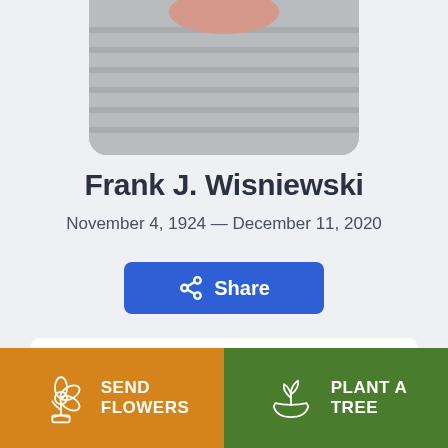[Figure (photo): Partial photo of Frank J. Wisniewski, showing clothing (striped shirt) and a glimpse of pink/skin tone at top]
Frank J. Wisniewski
November 4, 1924 — December 11, 2020
Share
[Figure (other): White card panel with blue icon and partial text (Obi...)]
SEND FLOWERS
PLANT A TREE